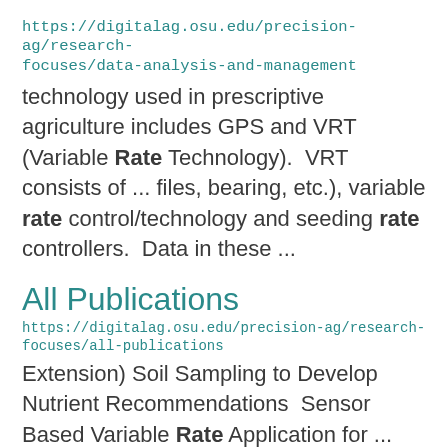https://digitalag.osu.edu/precision-ag/research-focuses/data-analysis-and-management
technology used in prescriptive agriculture includes GPS and VRT (Variable Rate Technology).  VRT consists of ... files, bearing, etc.), variable rate control/technology and seeding rate controllers.  Data in these ...
All Publications
https://digitalag.osu.edu/precision-ag/research-focuses/all-publications
Extension) Soil Sampling to Develop Nutrient Recommendations  Sensor Based Variable Rate Application for ...